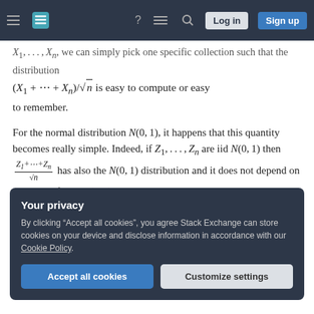[Stack Exchange navigation bar with hamburger menu, logo, help icon, chat icon, search icon, Log in button, Sign up button]
X_1, ..., X_n, we can simply pick one specific collection such that the distribution (X_1 + ... + X_n)/sqrt(n) is easy to compute or easy to remember.
For the normal distribution N(0,1), it happens that this quantity becomes really simple. Indeed, if Z_1,...,Z_n are iid N(0,1) then (Z_1+...+Z_n)/sqrt(n) has also the N(0,1) distribution and it does not depend on n! Hence if Z ~ N(0,1), then
Your privacy
By clicking "Accept all cookies", you agree Stack Exchange can store cookies on your device and disclose information in accordance with our Cookie Policy.
Accept all cookies    Customize settings